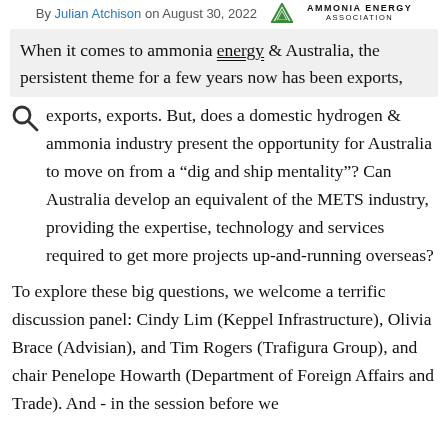By Julian Atchison on August 30, 2022 — Ammonia Energy Association
When it comes to ammonia energy & Australia, the persistent theme for a few years now has been exports, exports, exports. But, does a domestic hydrogen & ammonia industry present the opportunity for Australia to move on from a "dig and ship mentality"? Can Australia develop an equivalent of the METS industry, providing the expertise, technology and services required to get more projects up-and-running overseas?
To explore these big questions, we welcome a terrific discussion panel: Cindy Lim (Keppel Infrastructure), Olivia Brace (Advisian), and Tim Rogers (Trafigura Group), and chair Penelope Howarth (Department of Foreign Affairs and Trade). And - in the session before we